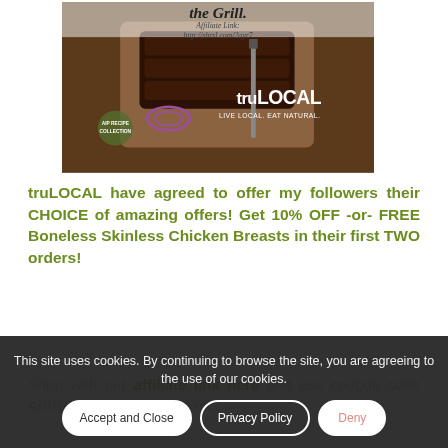[Figure (photo): Advertisement image for truLOCAL showing grilled meat on a cutting board with text 'AIP Recipe Collection', 'truLOCAL', 'LIVE LOCAL. EAT NATURAL.', and 'Affiliate Link: http://shrsl.com/2ayr7']
truLOCAL have agreed to offer my followers their CHOICE of amazing offers! Get 10% OFF -or- FREE Boneless Skinless Chicken Breasts in their first TWO orders!
Shop with our affiliate link here and use coupon code AIPRECIPES10 for 10% off
This site uses cookies. By continuing to browse the site, you are agreeing to the use of our cookies.
Accept and Close | Privacy Policy | Deny